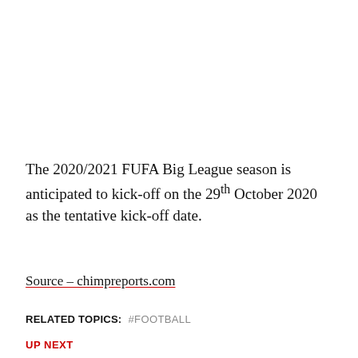The 2020/2021 FUFA Big League season is anticipated to kick-off on the 29th October 2020 as the tentative kick-off date.
Source – chimpreports.com
RELATED TOPICS:   #FOOTBALL
UP NEXT